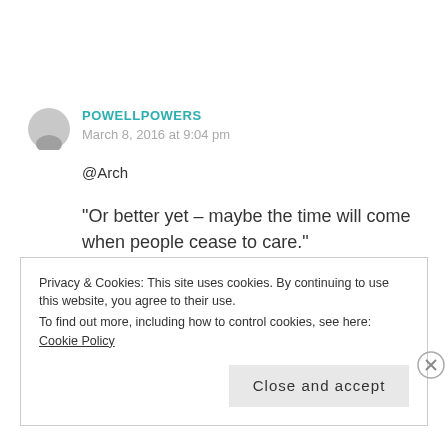POWELLPOWERS
March 8, 2016 at 9:04 pm
@Arch
“Or better yet – maybe the time will come when people cease to care.”
Privacy & Cookies: This site uses cookies. By continuing to use this website, you agree to their use.
To find out more, including how to control cookies, see here: Cookie Policy
Close and accept